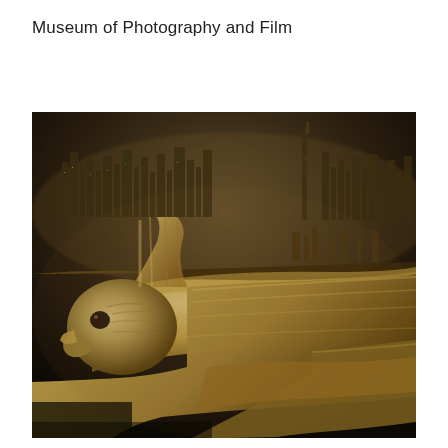Museum of Photography and Film
[Figure (photo): Sepia-toned archival photograph showing an Art Deco eagle gargoyle in the foreground (likely from the Chrysler Building), with a sweeping view of the New York City skyline at night in the background. The eagle's metallic head and body are prominent in the lower left, gleaming against the distant illuminated cityscape.]